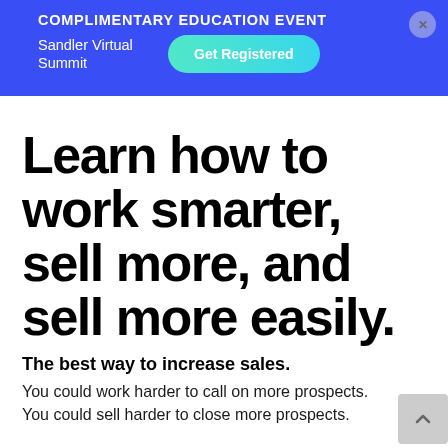COMPLIMENTARY EDUCATION EVENT
Sandler Virtual Summit
Get Registered
Learn how to work smarter, sell more, and sell more easily.
The best way to increase sales.
You could work harder to call on more prospects. You could sell harder to close more prospects.